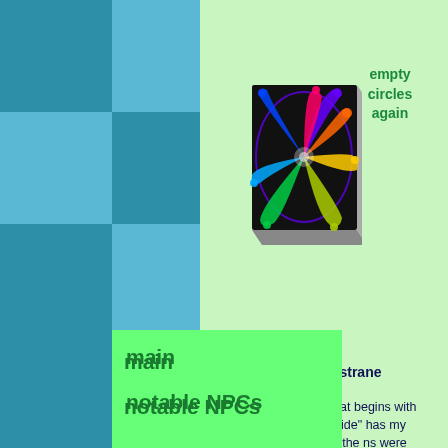[Figure (illustration): Psychedelic rainbow spiral painting on a tilted canvas/book cover with dark background and colorful swirling dot pattern]
empty circles again
erigraph) - by n.i. strane
ny item description that begins with "before his tragic suicide" has my spect. the creators of the ns were insane, and that's latable to me. but back to painting-- the design was simple. the colors were peccable. and as a young homosexual who loved verything rainbow. i put s painting in every child's room. now as an older homosexual, maybe all i
main
notable NPCs
objects
tunes